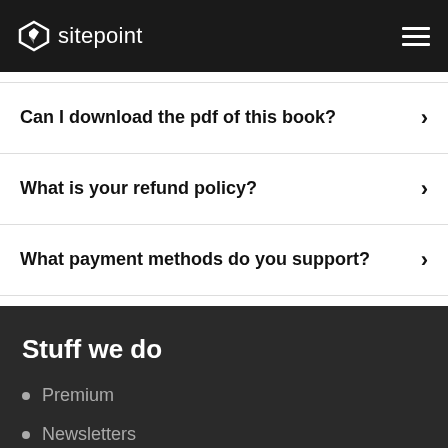sitepoint
Can I download the pdf of this book?
What is your refund policy?
What payment methods do you support?
Stuff we do
Premium
Newsletters
Forums